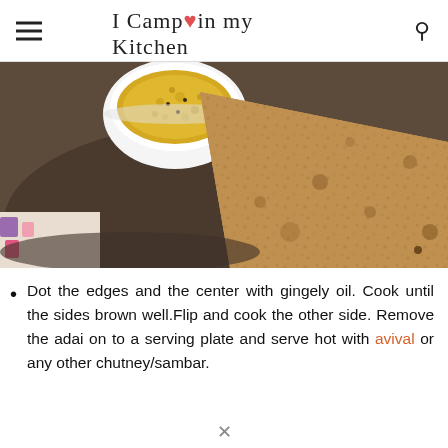I Camp in my Kitchen — DELICIOUS RECIPE FOOD. AN EASY WAY TO ANYONE'S HEART
[Figure (photo): Overhead photo of a golden-brown crispy adai (lentil crepe) on a dark plate with a small white bowl of yellow avival/sambar in the background.]
Dot the edges and the center with gingely oil. Cook until the sides brown well.Flip and cook the other side. Remove the adai on to a serving plate and serve hot with avival or any other chutney/sambar.